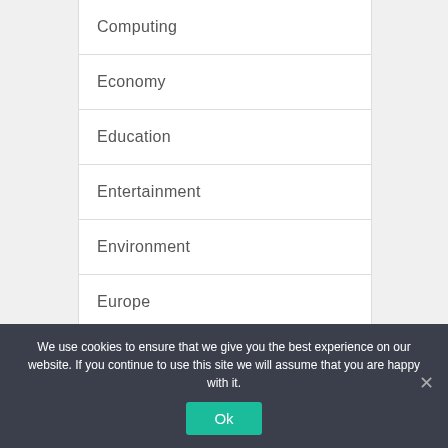Computing
Economy
Education
Entertainment
Environment
Europe
Gadgets
We use cookies to ensure that we give you the best experience on our website. If you continue to use this site we will assume that you are happy with it.
Ok